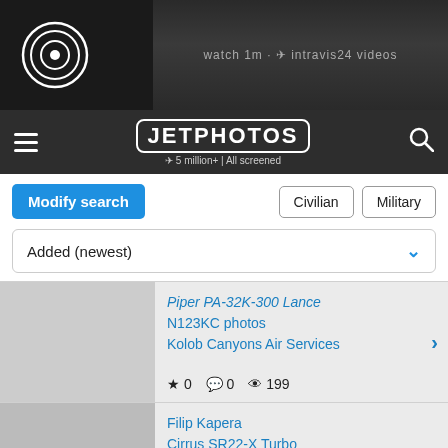[Figure (screenshot): JetPhotos website screenshot showing banner with airplane, navigation bar with logo, search controls, and two aircraft photo listing cards.]
JETPHOTOS · 5 million+ | All screened
Piper PA-32K-300 Lance
N123KC photos
Kolob Canyons Air Services
★ 0  💬 0  👁 199
Filip Kapera
Cirrus SR22-X Turbo
N452CD photos
Private
★ 1  💬 0  👁 117